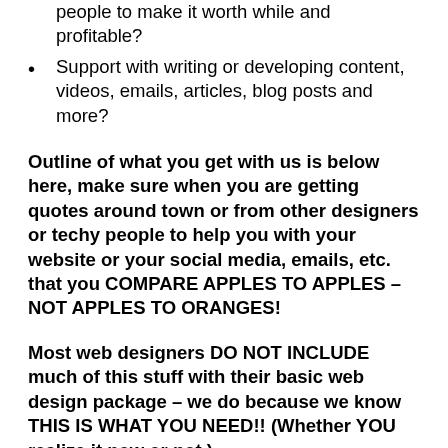people to make it worth while and profitable?
Support with writing or developing content, videos, emails, articles, blog posts and more?
Outline of what you get with us is below here, make sure when you are getting quotes around town or from other designers or techy people to help you with your website or your social media, emails, etc. that you COMPARE APPLES TO APPLES – NOT APPLES TO ORANGES!
Most web designers DO NOT INCLUDE much of this stuff with their basic web design package – we do because we know THIS IS WHAT YOU NEED!! (Whether YOU realize it now or not.)